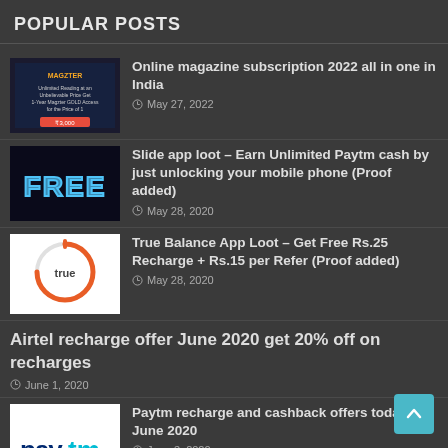POPULAR POSTS
Online magazine subscription 2022 all in one in India
May 27, 2022
Slide app loot – Earn Unlimited Paytm cash by just unlocking your mobile phone (Proof added)
May 28, 2020
True Balance App Loot – Get Free Rs.25 Recharge + Rs.15 per Refer (Proof added)
May 28, 2020
Airtel recharge offer June 2020 get 20% off on recharges
June 1, 2020
Paytm recharge and cashback offers today: June 2020
June 3, 2020